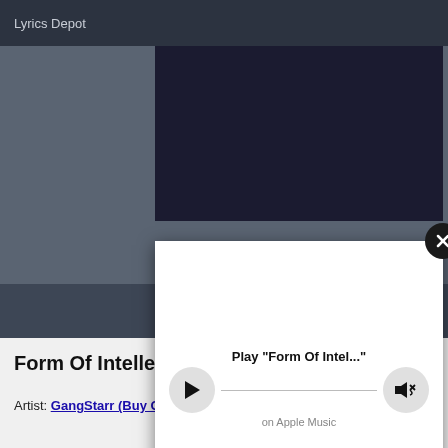Lyrics Depot
[Figure (screenshot): Music player modal overlay with play button, progress bar, and volume button. Shows 'Play "Form Of Intel..."' and 'on Apple Music'. Has a close (X) button in top-right corner.]
Find Song Lyrics
Form Of Intellect Lyrics
Artist: GangStarr (Buy GangStarr CDs)